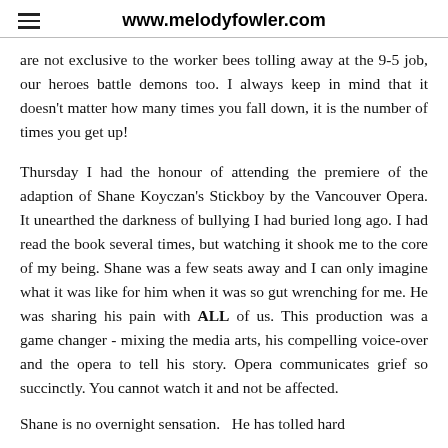www.melodyfowler.com
are not exclusive to the worker bees tolling away at the 9-5 job, our heroes battle demons too.  I always keep in mind that it doesn't matter how many times you fall down, it is the number of times you get up!
Thursday I had the honour of attending the premiere of the adaption of Shane Koyczan's Stickboy by the Vancouver Opera.  It unearthed the darkness of bullying I had buried long ago.  I had read the book several times, but watching it shook me to the core of my being.  Shane was a few seats away and I can only imagine what it was like for him when it was so gut wrenching for me.  He was sharing his pain with ALL of us.  This production was a game changer - mixing the media arts, his compelling voice-over and the opera to tell his story.  Opera communicates grief so succinctly.  You cannot watch it and not be affected.
Shane is no overnight sensation.  He has tolled hard...